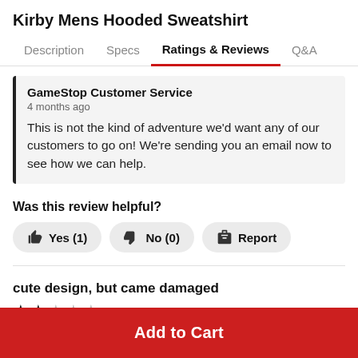Kirby Mens Hooded Sweatshirt
Description  Specs  Ratings & Reviews  Q&A
GameStop Customer Service
4 months ago
This is not the kind of adventure we'd want any of our customers to go on! We're sending you an email now to see how we can help.
Was this review helpful?
Yes (1)  No (0)  Report
cute design, but came damaged
★★☆☆☆
Add to Cart